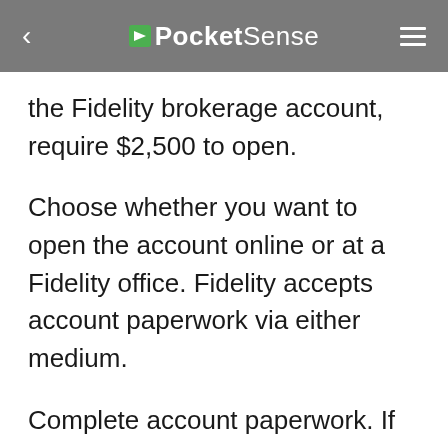PocketSense
the Fidelity brokerage account, require $2,500 to open.
Choose whether you want to open the account online or at a Fidelity office. Fidelity accepts account paperwork via either medium.
Complete account paperwork. If you already have a Fidelity account, the firm will already have the relevant information to open your account. Otherwise, you'll have to provide basic personal information, such as your name, address, date of birth and Social